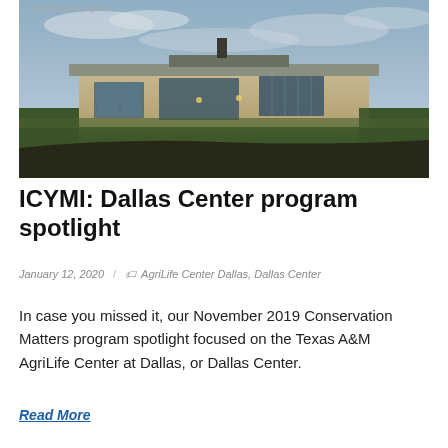[Figure (photo): Exterior photograph of the Texas A&M AgriLife Center at Dallas building at dusk, with a dramatic cloudy sky. Photo credit: Gabe Saldana, AgriLife.]
ICYMI: Dallas Center program spotlight
January 12, 2020  /  AgriLife Center Dallas, Dallas Center
In case you missed it, our November 2019 Conservation Matters program spotlight focused on the Texas A&M AgriLife Center at Dallas, or Dallas Center.
Read More